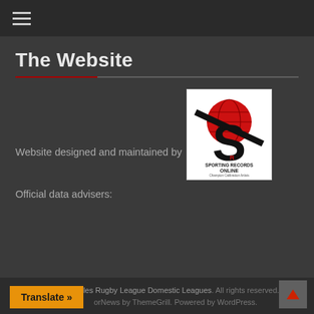≡ (hamburger menu icon)
The Website
Website designed and maintained by
[Figure (logo): Sporting Records Online logo — large black S with red globe, text reads SPORTING RECORDS ONLINE, Champion Calibration Artists]
Official data advisers:
Copyright © 2022 Wales Rugby League Domestic Leagues. All rights reserved. | SportorNews by ThemeGrill. Powered by WordPress.